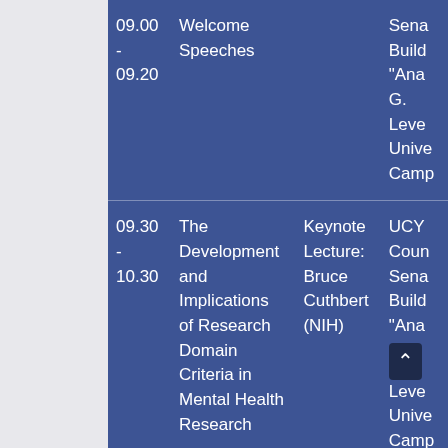| Time | Title | Type | Venue |
| --- | --- | --- | --- |
| 09.00 - 09.20 | Welcome Speeches |  | Senate Building "Anastasios G. Leventis" University of Cyprus Campus |
| 09.30 - 10.30 | The Development and Implications of Research Domain Criteria in Mental Health Research | Keynote Lecture: Bruce Cuthbert (NIH) | UCY Council Senate Building "Anastasios G. Leventis" University of Cyprus Campus |
|  | Building Gene-Brain |  | UCY Council |